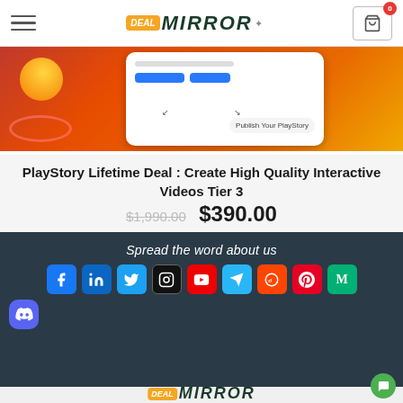Deal Mirror — navigation header with hamburger menu, logo, and cart icon
[Figure (screenshot): Product image showing a phone mockup with PlayStory interface on orange background]
PlayStory Lifetime Deal : Create High Quality Interactive Videos Tier 3
$1,990.00  $390.00
Spread the word about us
[Figure (infographic): Social media sharing icons: Facebook, LinkedIn, Twitter, Instagram, YouTube, Telegram, Reddit, Pinterest, Medium, Discord]
[Figure (logo): Deal Mirror logo at bottom of page]
[Figure (other): Green chat bubble button at bottom right]